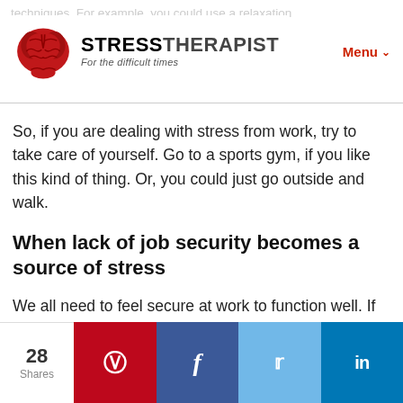STRESSTHERAPIST — For the difficult times
So, if you are dealing with stress from work, try to take care of yourself. Go to a sports gym, if you like this kind of thing. Or, you could just go outside and walk.
When lack of job security becomes a source of stress
We all need to feel secure at work to function well. If we feel insecure at work, we can become anxious and depressed. Insecurity can also lead to problems with stress.
28 Shares | Pinterest | Facebook | Twitter | LinkedIn